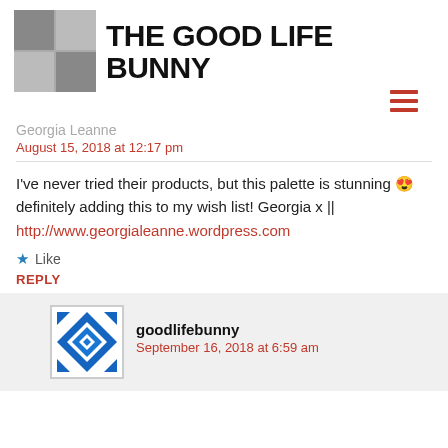THE GOOD LIFE BUNNY
Georgia Leanne
August 15, 2018 at 12:17 pm
I've never tried their products, but this palette is stunning 😍 definitely adding this to my wish list! Georgia x || http://www.georgialeanne.wordpress.com
Like
REPLY
goodlifebunny
September 16, 2018 at 6:59 am